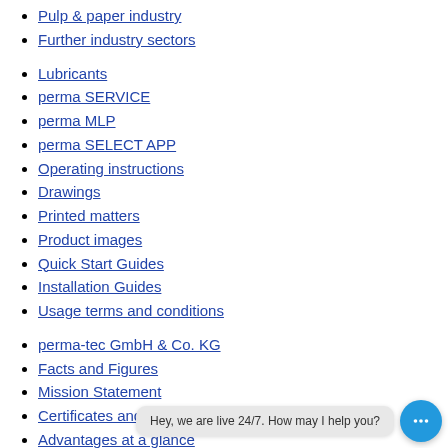Pulp & paper industry
Further industry sectors
Lubricants
perma SERVICE
perma MLP
perma SELECT APP
Operating instructions
Drawings
Printed matters
Product images
Quick Start Guides
Installation Guides
Usage terms and conditions
perma-tec GmbH & Co. KG
Facts and Figures
Mission Statement
Certificates and Memberships
Advantages at a glance
Company history
Subsidiaries
Trade partners in Europe
Become a supp...
perma CLASSIC